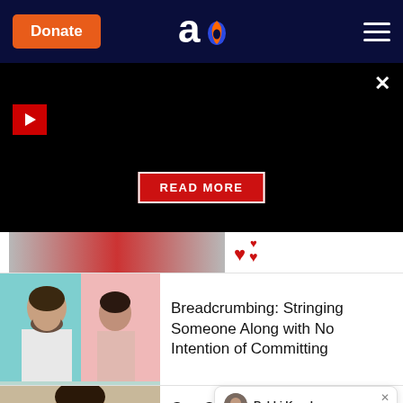Donate | Aish logo | hamburger menu
[Figure (screenshot): Black video/overlay area with play button, close X, and READ MORE button]
[Figure (photo): Partial article card with hearts icons — cropped at top]
[Figure (photo): Article card image: man and woman on teal and pink background]
Breadcrumbing: Stringing Someone Along with No Intention of Committing
[Figure (photo): Partial article card image: man with dark hair]
Guy Confessions: Shadchan